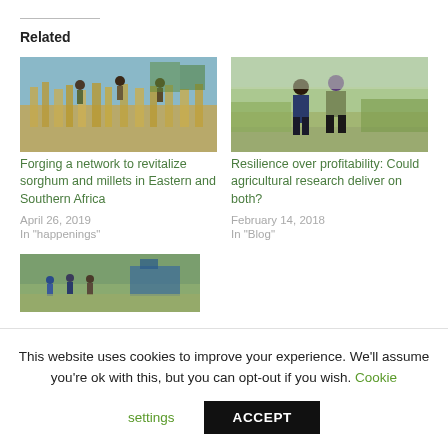Related
[Figure (photo): Group of people harvesting sorghum/millet crops in a field, Eastern/Southern Africa]
Forging a network to revitalize sorghum and millets in Eastern and Southern Africa
April 26, 2019
In "happenings"
[Figure (photo): Two men standing in a dry agricultural field, one wearing a blue cap and one in purple, reviewing crops]
Resilience over profitability: Could agricultural research deliver on both?
February 14, 2018
In "Blog"
[Figure (photo): Partially visible photo of a group of people in a green field with equipment]
This website uses cookies to improve your experience. We'll assume you're ok with this, but you can opt-out if you wish. Cookie settings ACCEPT